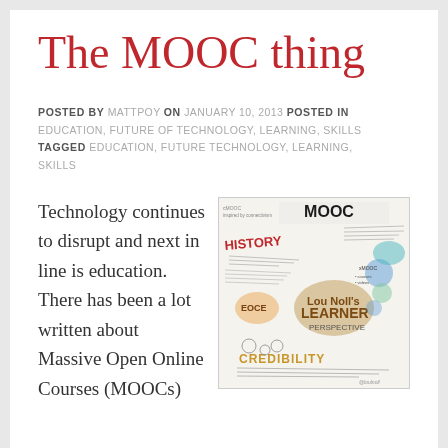The MOOC thing
POSTED BY MATTPOY ON JANUARY 10, 2013 POSTED IN EDUCATION, FUTURE OF TECHNOLOGY, LEARNING, SKILLS TAGGED EDUCATION, FUTURE TECHNOLOGY, LEARNING, SKILLS
[Figure (illustration): Hand-drawn sketchnote style illustration about MOOCs, featuring the word MOOC prominently, with HISTORY, LEARNER, CREDIBILITY and other concepts written in a mind-map style with colorful annotations and drawings.]
Technology continues to disrupt and next in line is education. There has been a lot written about Massive Open Online Courses (MOOCs)...